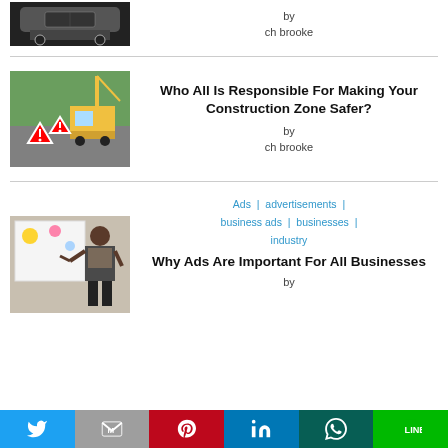[Figure (photo): Car interior dashboard photo thumbnail]
by
ch brooke
[Figure (photo): Construction zone with warning triangles and crane]
Who All Is Responsible For Making Your Construction Zone Safer?
by
ch brooke
Ads  |  advertisements  |  business ads  |  businesses  |  industry
[Figure (photo): Business person writing on whiteboard]
Why Ads Are Important For All Businesses
by
Twitter  Gmail  Pinterest  LinkedIn  WhatsApp  LINE